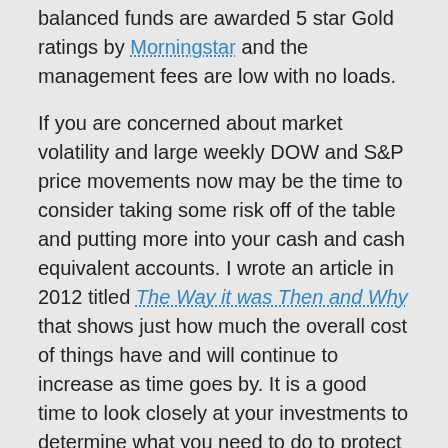balanced funds are awarded 5 star Gold ratings by Morningstar and the management fees are low with no loads.
If you are concerned about market volatility and large weekly DOW and S&P price movements now may be the time to consider taking some risk off of the table and putting more into your cash and cash equivalent accounts. I wrote an article in 2012 titled The Way it was Then and Why that shows just how much the overall cost of things have and will continue to increase as time goes by. It is a good time to look closely at your investments to determine what you need to do to protect the assets you worked a lifetime to accumulate.
Request a Federal Retirement Report™ today to review your projected annuity payments, income